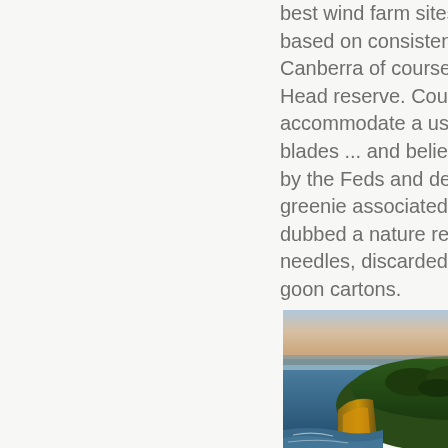best wind farm sites in Australia ... if based on consistency of wind (outside Canberra of course) is Sydney's North Head reserve. Could easily accommodate a useful number of blades ... and believe it is controlled by the Feds and defence and other greenie associated orgs. It is also dubbed a nature reserve full of natural needles, discarded condoms and goon cartons.
[Figure (photo): Aerial photograph of a headland or coastal cliff area, likely Sydney's North Head, showing rocky cliffs, vegetation, and ocean water surrounding the promontory, taken at dusk or dawn with warm golden light.]